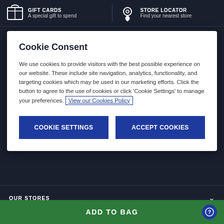GIFT CARDS A special gift to spend | STORE LOCATOR Find your nearest store
Cookie Consent
We use cookies to provide visitors with the best possible experience on our website. These include site navigation, analytics, functionality, and targeting cookies which may be used in our marketing efforts. Click the button to agree to the use of cookies or click 'Cookie Settings' to manage your preferences. View our Cookies Policy
Cookie Settings | Accept Cookies
OUR STORES
CONNECT WITH US
ADD TO BAG